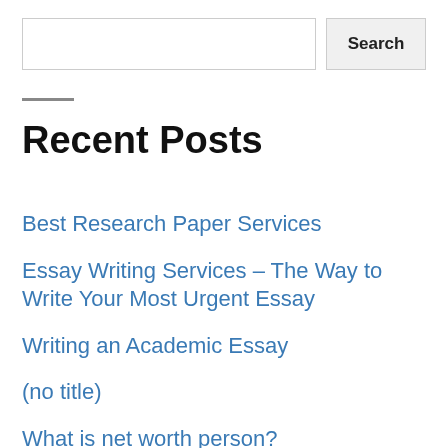Search
Recent Posts
Best Research Paper Services
Essay Writing Services – The Way to Write Your Most Urgent Essay
Writing an Academic Essay
(no title)
What is net worth person?